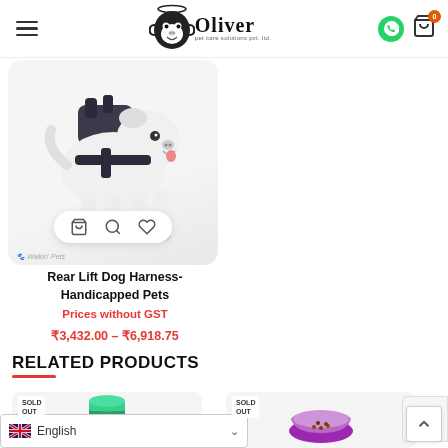Oliver pet care solutions pvt. ltd.
[Figure (photo): White French Bulldog wearing a rear lift dog harness]
Rear Lift Dog Harness-Handicapped Pets
Prices without GST
₹3,432.00 – ₹6,918.75
RELATED PRODUCTS
[Figure (photo): Green cylindrical pet product, sold out]
[Figure (photo): Purple pet bowl, sold out]